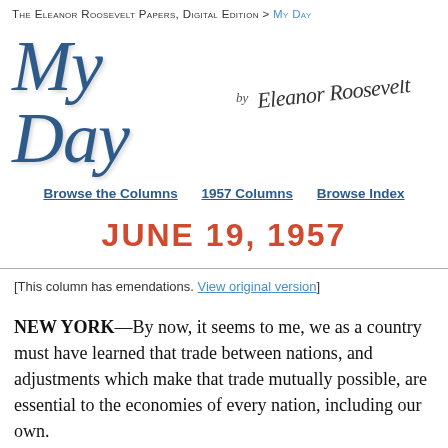The Eleanor Roosevelt Papers, Digital Edition > My Day
My Day by Eleanor Roosevelt
Browse the Columns   1957 Columns   Browse Index
JUNE 19, 1957
[This column has emendations. View original version]
NEW YORK—By now, it seems to me, we as a country must have learned that trade between nations, and adjustments which make that trade mutually possible, are essential to the economies of every nation, including our own.